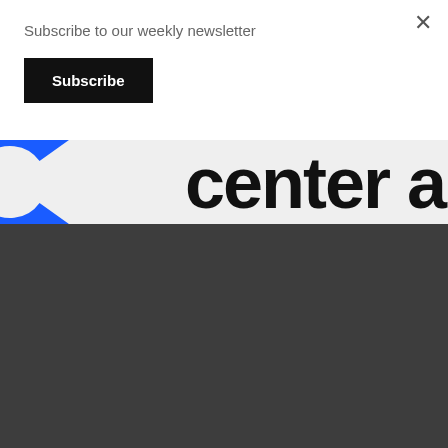Subscribe to our weekly newsletter
Subscribe
[Figure (logo): Partial Estonian World logo — blue curved C shape on left, large bold dark text 'Center and' partially visible on right, on light grey background]
SUPPORT
Read Estonian World founders appeal here and please consider becoming a supporter.
Thank you in advance!